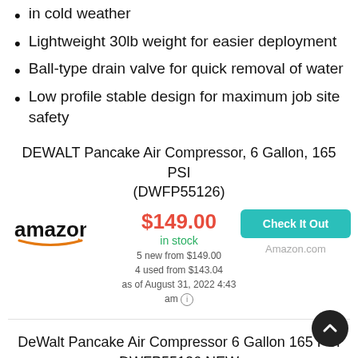in cold weather
Lightweight 30lb weight for easier deployment
Ball-type drain valve for quick removal of water
Low profile stable design for maximum job site safety
DEWALT Pancake Air Compressor, 6 Gallon, 165 PSI (DWFP55126)
$149.00 in stock 5 new from $149.00 4 used from $143.04 as of August 31, 2022 4:43 am
Check It Out
Amazon.com
DeWalt Pancake Air Compressor 6 Gallon 165 PSI DWFP55126 NEW
out of stock
Check It Out
eBay